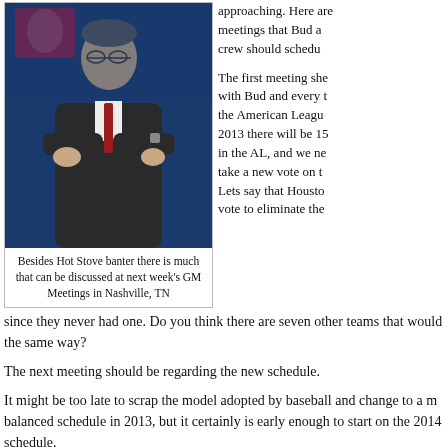[Figure (photo): Man in suit with arms crossed in front of MLB logo backdrop, appears to be Bud Selig at a press conference]
Besides Hot Stove banter there is much that can be discussed at next week's GM Meetings in Nashville, TN
approaching. Here are meetings that Bud a crew should schedu
The first meeting she with Bud and every t the American Leagu 2013 there will be 15 in the AL, and we ne take a new vote on t Lets say that Housto vote to eliminate the since they never had one. Do you think there are seven other teams that would the same way?
The next meeting should be regarding the new schedule.
It might be too late to scrap the model adopted by baseball and change to a m balanced schedule in 2013, but it certainly is early enough to start on the 2014 schedule.
In 2013 each team will play 19 divisional games and 20 interleague games wit teams.
In 2014 a balanced schedule would have each team play 18 divisional games